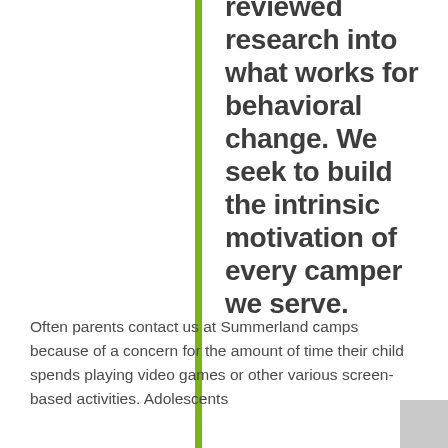reviewed research into what works for behavioral change. We seek to build the intrinsic motivation of every camper we serve.
Often parents contact us at Summerland camps because of a concern for the amount of time their child spends playing video games or other various screen-based activities. Adolescents